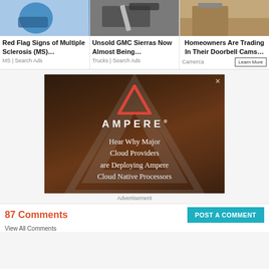[Figure (screenshot): Sponsored card: Red Flag Signs of Multiple Sclerosis (MS)... with image of a person in blue, source: MS | Search Ads]
[Figure (screenshot): Sponsored card: Unsold GMC Sierras Now Almost Being... with image of a knife/cleaver, source: Trucks | Search Ads]
[Figure (screenshot): Sponsored card: Homeowners Are Trading In Their Doorbell Cams... with image of a doorstep, source: Camerca, Learn More button]
[Figure (screenshot): Advertisement banner for AMPERE with red triangle logo. Text: Hear Why Major Cloud Providers are Deploying Ampere Cloud Native Processors]
Advertisement
87 Comments
POST A COMMENT
View All Comments